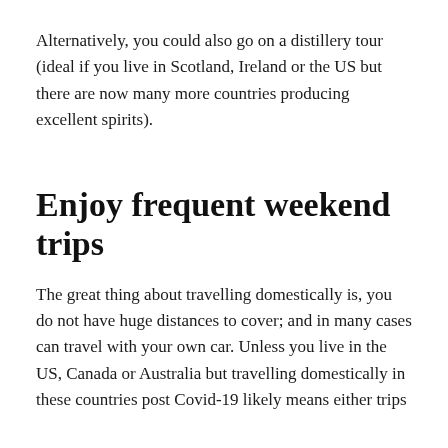Alternatively, you could also go on a distillery tour (ideal if you live in Scotland, Ireland or the US but there are now many more countries producing excellent spirits).
Enjoy frequent weekend trips
The great thing about travelling domestically is, you do not have huge distances to cover; and in many cases can travel with your own car. Unless you live in the US, Canada or Australia but travelling domestically in these countries post Covid-19 likely means either trips